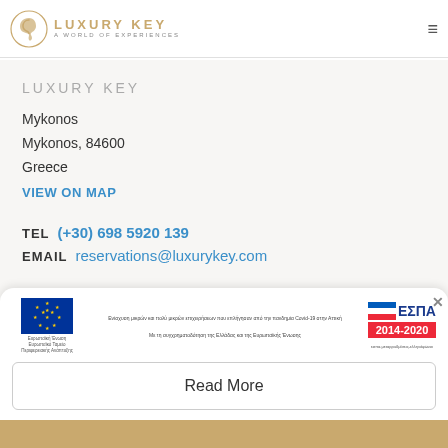LUXURY KEY A WORLD OF EXPERIENCES
LUXURY KEY
Mykonos
Mykonos, 84600
Greece
VIEW ON MAP
TEL   (+30) 698 5920 139
EMAIL   reservations@luxurykey.com
[Figure (logo): EU flag logo with text Ευρωπαϊκή Ένωση Ευρωπαϊκό Ταμείο Περιφερειακής Ανάπτυξης, ΕΣΠΑ 2014-2020 banner, Greek text about pandemic support and co-financing by Greece and the European Union]
Read More